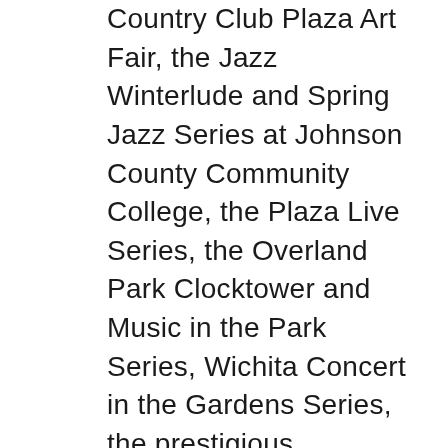Country Club Plaza Art Fair, the Jazz Winterlude and Spring Jazz Series at Johnson County Community College, the Plaza Live Series, the Overland Park Clocktower and Music in the Park Series, Wichita Concert in the Gardens Series, the prestigious Corporate Woods Jazz Festival, the Coleman Hawkins Festival (St. Joseph, Missouri), the Grandview Missouri Jazz Festival, the Lee's Summit Fest, the Zona Rosa Jazz Series, the Spirituality and All That Jazz Series at Unity Temple on the Plaza, the Hidden Glen Arts Festival, Powell Gardens Boom and Bloom